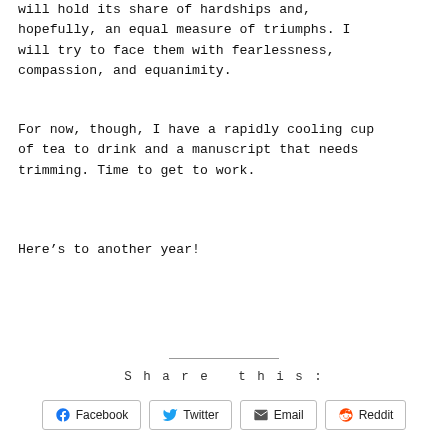will hold its share of hardships and, hopefully, an equal measure of triumphs. I will try to face them with fearlessness, compassion, and equanimity.
For now, though, I have a rapidly cooling cup of tea to drink and a manuscript that needs trimming. Time to get to work.
Here’s to another year!
Share this:
Facebook | Twitter | Email | Reddit